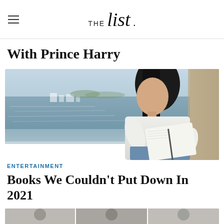THE list
With Prince Harry
[Figure (photo): Young woman with long dark hair sitting by the sea reading a book, wearing a white t-shirt and jeans, with rocky coastline and coastal town visible in the background.]
ENTERTAINMENT
Books We Couldn't Put Down In 2021
[Figure (photo): Partial bottom strip showing thumbnails of additional article images.]